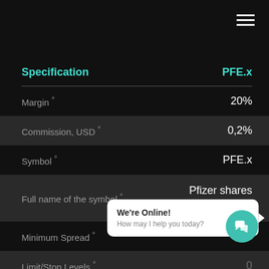| Specification | PFE.x |
| --- | --- |
| Margin ° | 20% |
| Commission, USD ° | 0,2% |
| Symbol ° | PFE.x |
| Full name of the symbol ° | Pfizer shares (token) |
| Minimum Spread ° | 0.01 |
| Limit/Stop Levels ° | 0 |
| Leverage Commission |  |
We're Online! How may I help you today?